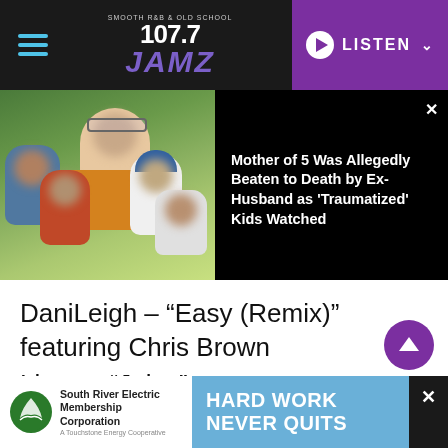107.7 JAMZ — LISTEN
[Figure (photo): A woman with glasses smiling surrounded by 5 children outdoors on grass, faces blurred]
Mother of 5 Was Allegedly Beaten to Death by Ex-Husband as 'Traumatized' Kids Watched
DaniLeigh – “Easy (Remix)” featuring Chris Brown
Lizzo – “Juice”
Normani – “Motivation”
[Figure (other): South River Electric Membership Corporation advertisement — HARD WORK NEVER QUITS]
South River Electric Membership Corporation — HARD WORK NEVER QUITS